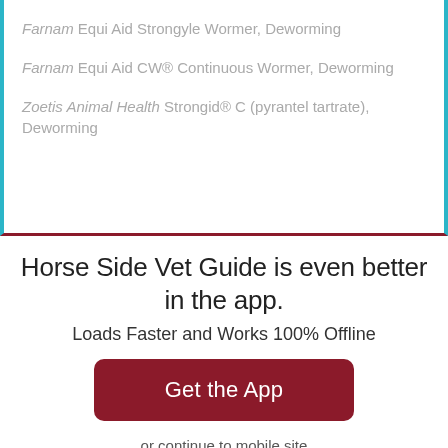Farnam Equi Aid Strongyle Wormer, Deworming
Farnam Equi Aid CW® Continuous Wormer, Deworming
Zoetis Animal Health Strongid® C (pyrantel tartrate), Deworming
Horse Side Vet Guide is even better in the app.
Loads Faster and Works 100% Offline
Get the App
or continue to mobile site